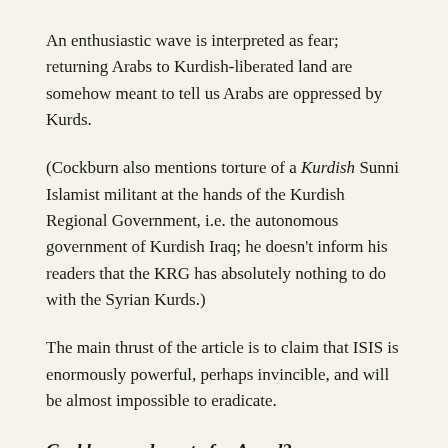An enthusiastic wave is interpreted as fear; returning Arabs to Kurdish-liberated land are somehow meant to tell us Arabs are oppressed by Kurds.
(Cockburn also mentions torture of a Kurdish Sunni Islamist militant at the hands of the Kurdish Regional Government, i.e. the autonomous government of Kurdish Iraq; he doesn't inform his readers that the KRG has absolutely nothing to do with the Syrian Kurds.)
The main thrust of the article is to claim that ISIS is enormously powerful, perhaps invincible, and will be almost impossible to eradicate.
Cockburn: advocate for Assad?
The LRB article barely mentions Assad, apart from this, on a Sunni recruit to ISIS: